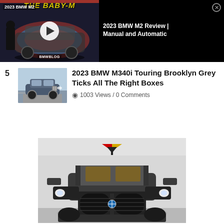[Figure (screenshot): Video player embed showing 2023 BMW M2 'THE BABY-M' review video thumbnail with play button, alongside black panel showing title '2023 BMW M2 Review | Manual and Automatic' with close button]
5  2023 BMW M340i Touring Brooklyn Grey Ticks All The Right Boxes  1003 Views / 0 Comments
[Figure (photo): Advertisement for Vorsteiner showing front view of a dark grey BMW M4 with distinctive wide grille and headlights, Vorsteiner logo at top]